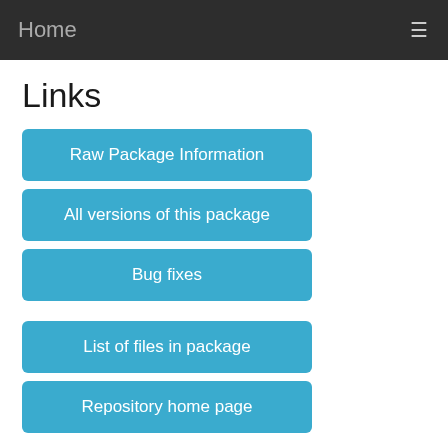Home
Links
Raw Package Information
All versions of this package
Bug fixes
List of files in package
Repository home page
Download "apache2-ssl-dev"
32-bit deb package
64-bit deb package